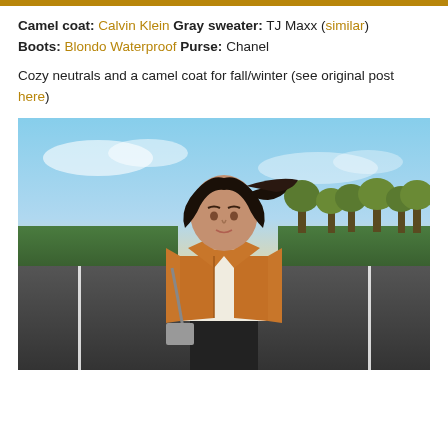Camel coat: Calvin Klein Gray sweater: TJ Maxx (similar) Boots: Blondo Waterproof Purse: Chanel
Cozy neutrals and a camel coat for fall/winter (see original post here)
[Figure (photo): Woman standing on a rural road wearing a camel/tan moto jacket over a cream sweater and black pants, with trees and green fields in background under a sunset sky.]